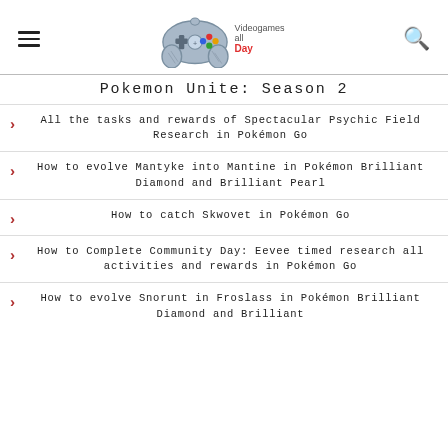Videogames all Day — navigation header with logo
Pokemon Unite: Season 2
All the tasks and rewards of Spectacular Psychic Field Research in Pokémon Go
How to evolve Mantyke into Mantine in Pokémon Brilliant Diamond and Brilliant Pearl
How to catch Skwovet in Pokémon Go
How to Complete Community Day: Eevee timed research all activities and rewards in Pokémon Go
How to evolve Snorunt in Froslass in Pokémon Brilliant Diamond and Brilliant